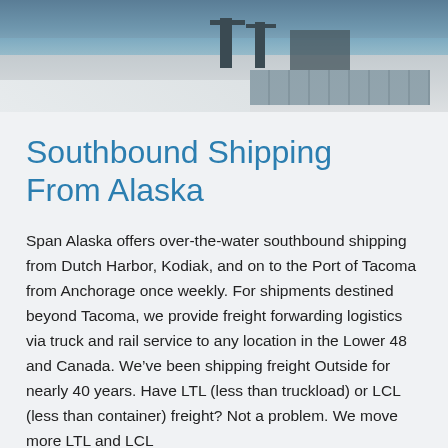[Figure (photo): Aerial photograph of an Alaskan port facility with cranes, shipping containers, and snow-covered ground along a coastline with ocean water visible.]
Southbound Shipping From Alaska
Span Alaska offers over-the-water southbound shipping from Dutch Harbor, Kodiak, and on to the Port of Tacoma from Anchorage once weekly. For shipments destined beyond Tacoma, we provide freight forwarding logistics via truck and rail service to any location in the Lower 48 and Canada. We've been shipping freight Outside for nearly 40 years. Have LTL (less than truckload) or LCL (less than container) freight? Not a problem. We move more LTL and LCL